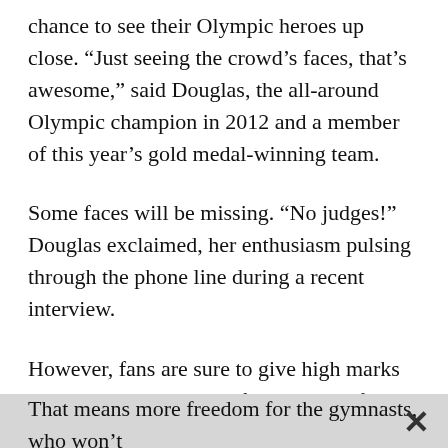chance to see their Olympic heroes up close. “Just seeing the crowd’s faces, that’s awesome,” said Douglas, the all-around Olympic champion in 2012 and a member of this year’s gold medal-winning team.
Some faces will be missing. “No judges!” Douglas exclaimed, her enthusiasm pulsing through the phone line during a recent interview.
However, fans are sure to give high marks Thursday night. Some of the athletes from the women’s, men’s, rhythmic and acrobatic teams will perform a variety of routines in an exhibition-style format that channels the Cirque du Soleil shows in Las Vegas.
That means more freedom for the gymnasts, who won’t